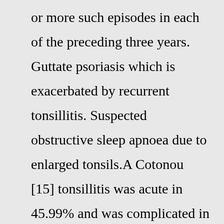or more such episodes in each of the preceding three years. Guttate psoriasis which is exacerbated by recurrent tonsillitis. Suspected obstructive sleep apnoea due to enlarged tonsils.A Cotonou [15] tonsillitis was acute in 45.99% and was complicated in 54.01% including recurrent tonsillitis with 25.26% and chronic tonsillitis with 19.16%. It can be said that tonsillitis is initially simple but they can be complicated